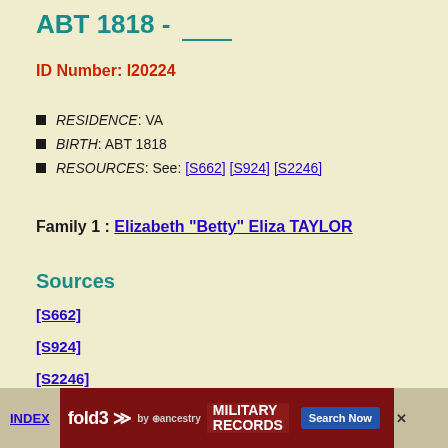ABT 1818 - ___
ID Number: I20224
RESIDENCE: VA
BIRTH: ABT 1818
RESOURCES: See: [S662] [S924] [S2246]
Family 1 : Elizabeth "Betty" Eliza TAYLOR
Sources
[S662]
[S924]
[S2246]
INDEX | fold3 MILITARY RECORDS Search Now